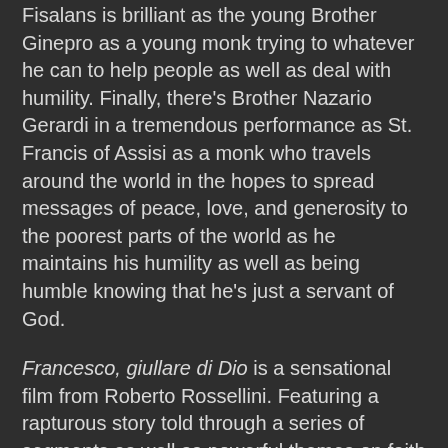Fisalans is brilliant as the young Brother Ginepro as a young monk trying to whatever he can to help people as well as deal with humility. Finally, there's Brother Nazario Gerardi in a tremendous performance as St. Francis of Assisi as a monk who travels around the world in the hopes to spread messages of peace, love, and generosity to the poorest parts of the world as he maintains his humility as well as being humble knowing that he's just a servant of God.
Francesco, giullare di Dio is a sensational film from Roberto Rossellini. Featuring a rapturous story told through a series of segments as well as powerful themes on faith and humanity. The film is definitely one of Rossellini's finest films as it has elements of neorealism but without a sense of cynicism. In the end, Francesco, giullare di Dio is a phenomenal film from Roberto Rossellini.
Roberto Rossellini Films: (La Vispa Teresa) - (Desiderio) - (Paisan) - (L'Amore-Il Miracolo) - Rome, Open City - (Germany, Year Zero) - Stromboli - (Medico Condotto) - (The Seven Deadly Sins-Envie, L'Envy) - Machine to Kill Bad People) - Europe '51 - (We, the Women-Ingrid Bergman) – Journey to Italy, Fear (1954 film) - (Giovanna d'Arco al rogo)